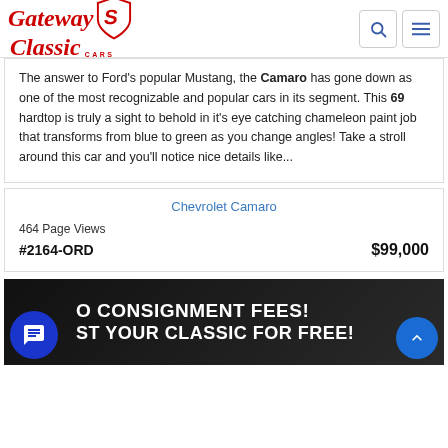Gateway Classic Cars
The answer to Ford's popular Mustang, the Camaro has gone down as one of the most recognizable and popular cars in its segment. This 69 hardtop is truly a sight to behold in it's eye catching chameleon paint job that transforms from blue to green as you change angles! Take a stroll around this car and you'll notice nice details like...
Chevrolet Camaro
464 Page Views
#2164-ORD    $99,000
[Figure (infographic): Dark banner with white bold text reading 'NO CONSIGNMENT FEES! LIST YOUR CLASSIC FOR FREE!' with a blue chat bubble icon on the left and a blue scroll-to-top arrow button on the right]